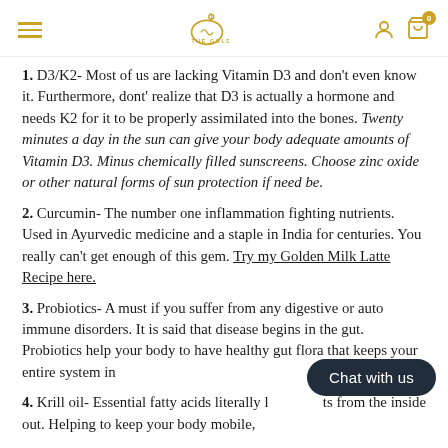THE GOLDEN SECRETS
1. D3/K2- Most of us are lacking Vitamin D3 and don't even know it. Furthermore, dont' realize that D3 is actually a hormone and needs K2 for it to be properly assimilated into the bones. Twenty minutes a day in the sun can give your body adequate amounts of Vitamin D3. Minus chemically filled sunscreens. Choose zinc oxide or other natural forms of sun protection if need be.
2. Curcumin- The number one inflammation fighting nutrients. Used in Ayurvedic medicine and a staple in India for centuries. You really can't get enough of this gem. Try my Golden Milk Latte Recipe here.
3. Probiotics- A must if you suffer from any digestive or auto immune disorders. It is said that disease begins in the gut. Probiotics help your body to have healthy gut flora that keeps your entire system in
4. Krill oil- Essential fatty acids literally l... ts from the inside out. Helping to keep your body mobile,